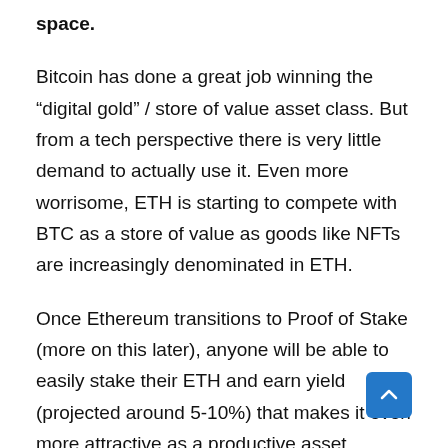space.
Bitcoin has done a great job winning the “digital gold” / store of value asset class. But from a tech perspective there is very little demand to actually use it. Even more worrisome, ETH is starting to compete with BTC as a store of value as goods like NFTs are increasingly denominated in ETH.
Once Ethereum transitions to Proof of Stake (more on this later), anyone will be able to easily stake their ETH and earn yield (projected around 5-10%) that makes it even more attractive as a productive asset.
Bitcoin is also in danger of s…